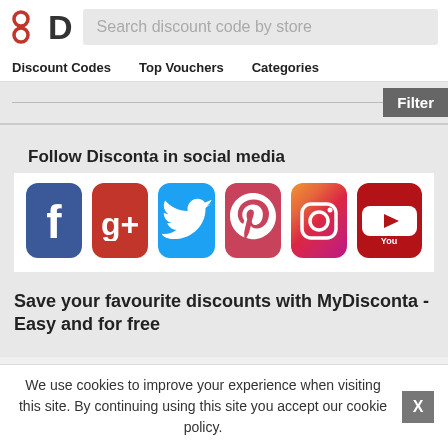[Figure (logo): Disconta logo: red circles icon and bold D letter]
Search discount code by store
Discount Codes   Top Vouchers   Categories
Filter
Follow Disconta in social media
[Figure (infographic): Social media icons: Facebook, Google+, Twitter, Pinterest, Instagram, YouTube]
Save your favourite discounts with MyDisconta - Easy and for free
We use cookies to improve your experience when visiting this site. By continuing using this site you accept our cookie policy.